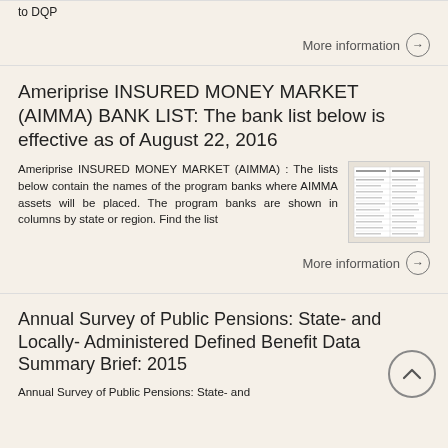to DQP
More information →
Ameriprise INSURED MONEY MARKET (AIMMA) BANK LIST: The bank list below is effective as of August 22, 2016
Ameriprise INSURED MONEY MARKET (AIMMA) : The lists below contain the names of the program banks where AIMMA assets will be placed. The program banks are shown in columns by state or region. Find the list
[Figure (table-as-image): Thumbnail image of a document showing a table/list of bank names in columns]
More information →
Annual Survey of Public Pensions: State- and Locally- Administered Defined Benefit Data Summary Brief: 2015
Annual Survey of Public Pensions: State- and